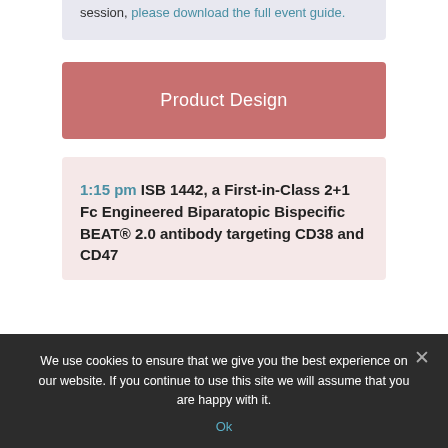session, please download the full event guide.
Product Design
1:15 pm ISB 1442, a First-in-Class 2+1 Fc Engineered Biparatopic Bispecific BEAT® 2.0 antibody targeting CD38 and CD47
We use cookies to ensure that we give you the best experience on our website. If you continue to use this site we will assume that you are happy with it.
Ok